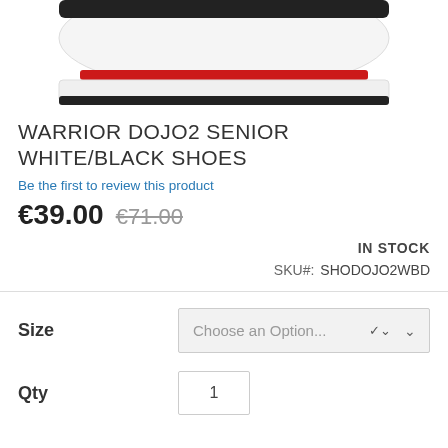[Figure (photo): Partial top view of white/black athletic shoe (Warrior Dojo2), showing the toe and sole area against white background]
WARRIOR DOJO2 SENIOR WHITE/BLACK SHOES
Be the first to review this product
€39.00 €71.00
IN STOCK
SKU#: SHODOJO2WBD
Size  Choose an Option...
Qty  1